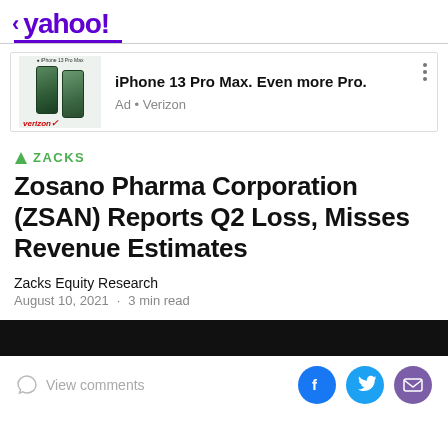< yahoo!
[Figure (screenshot): Advertisement banner for iPhone 13 Pro Max by Verizon, showing two green iPhone 13 Pro Max phones side by side]
iPhone 13 Pro Max. Even more Pro.
Ad • Verizon
▲ ZACKS
Zosano Pharma Corporation (ZSAN) Reports Q2 Loss, Misses Revenue Estimates
Zacks Equity Research
August 10, 2021 · 3 min read
View comments